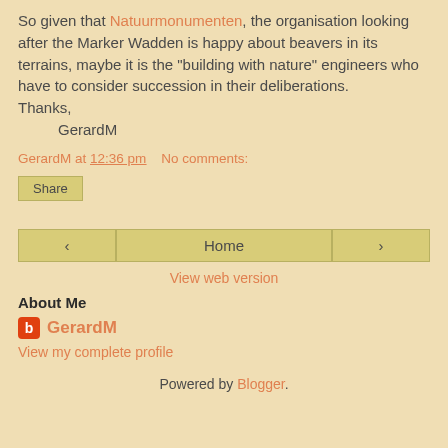So given that Natuurmonumenten, the organisation looking after the Marker Wadden is happy about beavers in its terrains, maybe it is the "building with nature" engineers who have to consider succession in their deliberations.
Thanks,
    GerardM
GerardM at 12:36 pm   No comments:
Share
< Home >
View web version
About Me
GerardM
View my complete profile
Powered by Blogger.